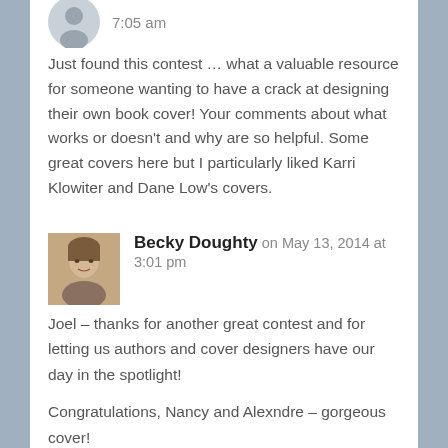7:05 am
Just found this contest … what a valuable resource for someone wanting to have a crack at designing their own book cover! Your comments about what works or doesn't and why are so helpful. Some great covers here but I particularly liked Karri Klowiter and Dane Low's covers.
Becky Doughty on May 13, 2014 at 3:01 pm
Joel – thanks for another great contest and for letting us authors and cover designers have our day in the spotlight!
Congratulations, Nancy and Alexndre – gorgeous cover!